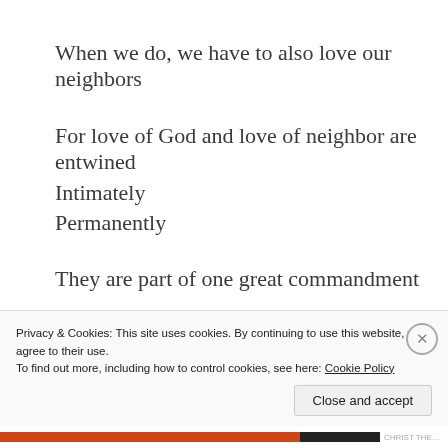When we do, we have to also love our neighbors
For love of God and love of neighbor are entwined
Intimately
Permanently
They are part of one great commandment
The greatest commandment
Love of the omnibenevolent God will lead to love for
our neighbors
Privacy & Cookies: This site uses cookies. By continuing to use this website, you agree to their use.
To find out more, including how to control cookies, see here: Cookie Policy
Close and accept